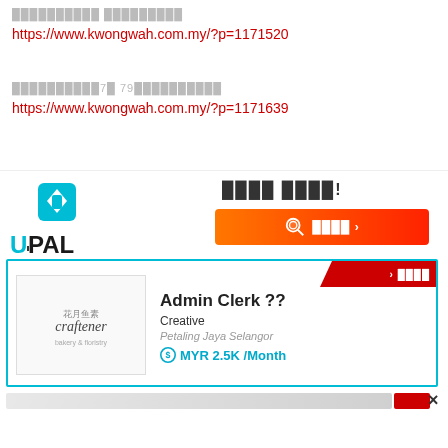██████████ █████████
https://www.kwongwah.com.my/?p=1171520
██████████7█ 79██████████
https://www.kwongwah.com.my/?p=1171639
[Figure (screenshot): UPAL job portal advertisement showing a job listing for Admin Clerk at Creative company in Petaling Jaya Selangor with salary MYR 2.5K/Month]
Admin Clerk ??
Creative
Petaling Jaya Selangor
MYR 2.5K /Month